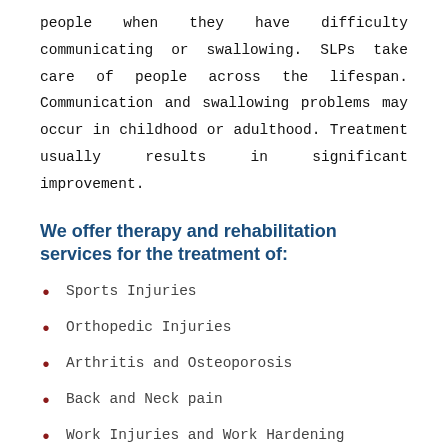people when they have difficulty communicating or swallowing. SLPs take care of people across the lifespan. Communication and swallowing problems may occur in childhood or adulthood. Treatment usually results in significant improvement.
We offer therapy and rehabilitation services for the treatment of:
Sports Injuries
Orthopedic Injuries
Arthritis and Osteoporosis
Back and Neck pain
Work Injuries and Work Hardening